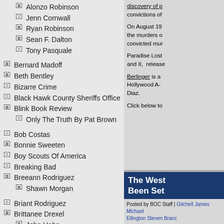Alonzo Robinson
Jenn Cornwall
Ryan Robinson
Sean F. Dalton
Tony Pasquale
Bernard Madoff
Beth Bentley
Bizarre Crime
Black Hawk County Sheriffs Office
Blink Book Review
Only The Truth By Pat Brown
Bob Costas
Bonnie Sweeten
Boy Scouts Of America
Breaking Bad
Breeann Rodriguez
Shawn Morgan
Briant Rodriguez
Brittanee Drexel
John Hahn
John Parrinello
Peter Broswick
Brittany Benevides
Caylee Anthony Case
"Todd Black"
Amy Huizenga
discovery of p... convictions of...
On August 19... the murders o... convicted mur...
Paradise Lost and II, release...
Berlinger is a... Hollywood A-... Diaz.
Click below to...
[Figure (photo): Gray placeholder image block]
The West Been Set
Posted by BOC Staff | Gitchell James Michael Ellington Steven Branc...